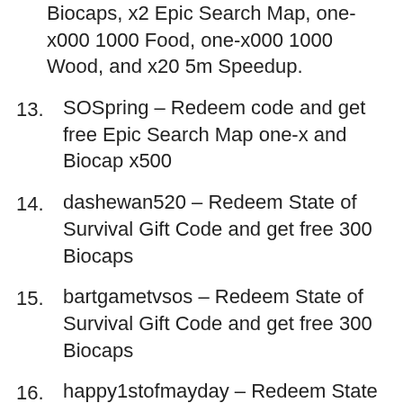(continuation) Biocaps, x2 Epic Search Map, one-x000 1000 Food, one-x000 1000 Wood, and x20 5m Speedup.
13. SOSpring – Redeem code and get free Epic Search Map one-x and Biocap x500
14. dashewan520 – Redeem State of Survival Gift Code and get free 300 Biocaps
15. bartgametvsos – Redeem State of Survival Gift Code and get free 300 Biocaps
16. happy1stofmayday – Redeem State of Survival Gift Code and get free 300 Biocaps
17. VK60K – Redeem code and get free 5K Biocaps & two Maps
18. gameplayhk – Redeem State of Survival Gift